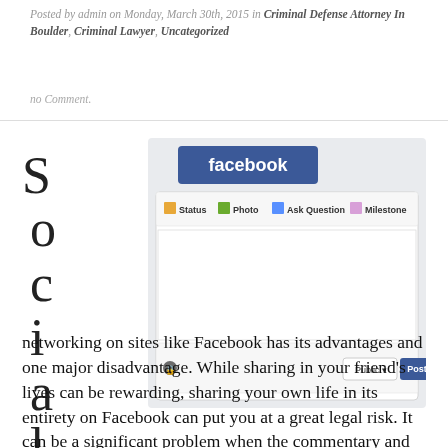Posted by admin on Monday, March 30th, 2015 in Criminal Defense Attorney In Boulder, Criminal Lawyer, Uncategorized
no Comment.
[Figure (screenshot): Screenshot of Facebook post interface showing the Facebook logo, Status/Photo/Ask Question/Milestone tabs, a text input area, and a Post button with Public dropdown.]
Social networking on sites like Facebook has its advantages and one major disadvantage. While sharing in your friend’s lives can be rewarding, sharing your own life in its entirety on Facebook can put you at a great legal risk. It can be a significant problem when the commentary and photos you post are damaging in some